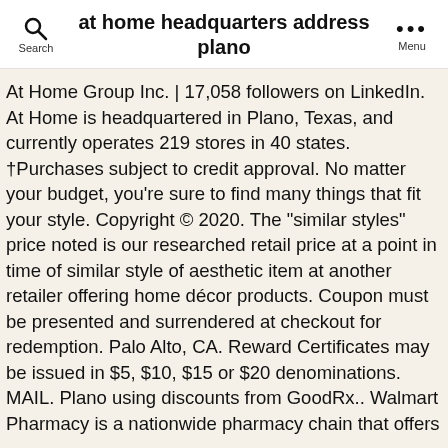at home headquarters address plano
At Home Group Inc. | 17,058 followers on LinkedIn. At Home is headquartered in Plano, Texas, and currently operates 219 stores in 40 states. †Purchases subject to credit approval. No matter your budget, you're sure to find many things that fit your style. Copyright © 2020. The "similar styles" price noted is our researched retail price at a point in time of similar style of aesthetic item at another retailer offering home décor products. Coupon must be presented and surrendered at checkout for redemption. Palo Alto, CA. Reward Certificates may be issued in $5, $10, $15 or $20 denominations. MAIL. Plano using discounts from GoodRx.. Walmart Pharmacy is a nationwide pharmacy chain that offers a full complement of services. Subject to credit approval. All rights reserved. Valid for one-time use. ‡For new accounts: Purchase APR is 26.99%; Minimum Interest Charge is $2. your next visit, a birthday bonus and Minimum monthly payments required. See the At Home Insider Perks Credit Card and